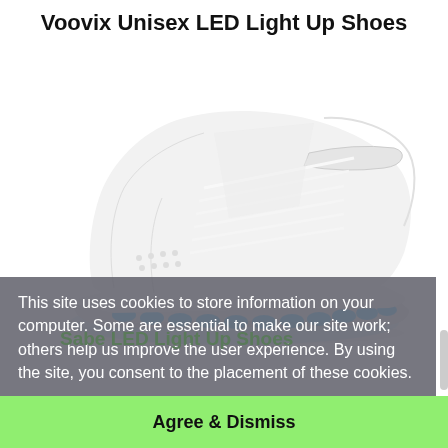Voovix Unisex LED Light Up Shoes
[Figure (photo): White high-top LED light-up sneaker with glowing blue LED strip along the sole, white laces and velcro strap, photographed on white background.]
This site uses cookies to store information on your computer. Some are essential to make our site work; others help us improve the user experience. By using the site, you consent to the placement of these cookies.
Sabe LED Light Up Shoes
Agree & Dismiss